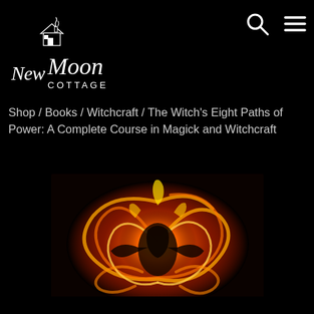[Figure (logo): New Moon Cottage logo — crescent moon with a house silhouette and the text 'NewMoon COTTAGE' with tagline 'A Working Witchcraft Store' in white on black background]
[Figure (other): Two navigation icons on black background: a magnifying glass (search) and a hamburger menu (three horizontal lines)]
Shop / Books / Witchcraft / The Witch's Eight Paths of Power: A Complete Course in Magick and Witchcraft
[Figure (photo): Swirling fire photography showing orange and yellow flame trails in a circular pattern against a dark background, with a silhouette of a figure visible in the center]